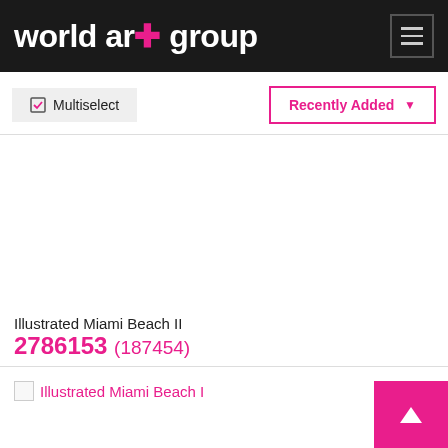world art group
Multiselect
Recently Added
Illustrated Miami Beach II
2786153 (187454)
[Figure (photo): Broken image placeholder for Illustrated Miami Beach I]
Illustrated Miami Beach I